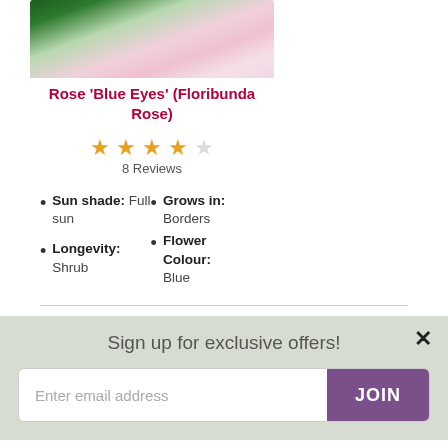[Figure (photo): Photo of Rose 'Blue Eyes' (Floribunda Rose) — pink and white flowers with green foliage, partially cropped at top]
Rose 'Blue Eyes' (Floribunda Rose)
[Figure (other): Star rating: 3.5 out of 5 stars (4 filled, 1 empty), 8 Reviews]
Sun shade: Full sun
Grows in: Borders
Flower Colour: Blue
Longevity: Shrub
Sign up for exclusive offers!
Enter email address
JOIN